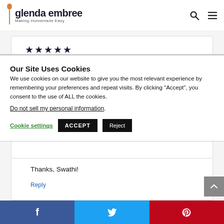glenda embree — Making Homemade Easy
[Figure (other): Five black star rating icons]
Our Site Uses Cookies
We use cookies on our website to give you the most relevant experience by remembering your preferences and repeat visits. By clicking "Accept", you consent to the use of ALL the cookies.
Do not sell my personal information.
Cookie settings   ACCEPT   Reject
Thanks, Swathi!
Reply